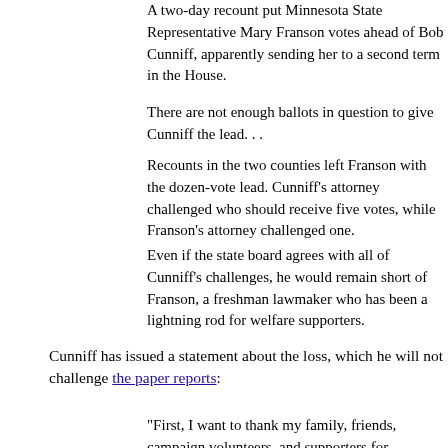A two-day recount put Minnesota State Representative Mary Franson votes ahead of Bob Cunniff, apparently sending her to a second term in the House.
There are not enough ballots in question to give Cunniff the lead. . .
Recounts in the two counties left Franson with the dozen-vote lead. Cunniff's attorney challenged who should receive five votes, while Franson's attorney challenged one.
Even if the state board agrees with all of Cunniff's challenges, he would remain short of Franson, a freshman lawmaker who has been a lightning rod for welfare supporters.
Cunniff has issued a statement about the loss, which he will not challenge the paper reports:
"First, I want to thank my family, friends, campaign volunteers, and supporters for everything they've done throughout the course of the campaign and in these weeks since then. While I am of course disappointed with the final outcome. I am proud of what we have accomplished and am grateful to have had the experience of meeting so many extraordinary people.
"The election proved yet again the importance of voting, and of making sure everyone's votes are counted fairly and accurately. I want to thank Douglas County Auditor Char Rosenow and Otter Tail County Auditor Wayne Stein and their staff - for their work in administering the election and overseeing the recount process. I am also thankful for volunteers from both campaigns who worked hard to make sure the recount was conducted quickly a
"Now that the process has come to an end, I would like to congratulate Representative Mary Franson on her victory. I wish her and her family well during this holiday season. I believe the results of this election show